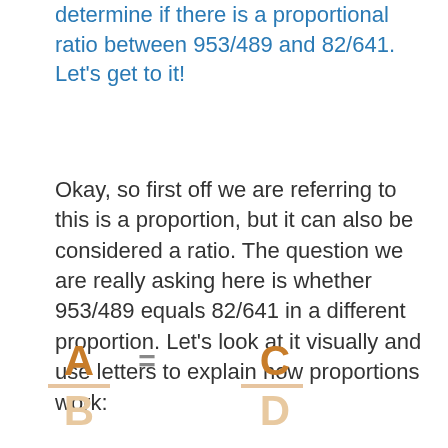determine if there is a proportional ratio between 953/489 and 82/641. Let's get to it!
Okay, so first off we are referring to this is a proportion, but it can also be considered a ratio. The question we are really asking here is whether 953/489 equals 82/641 in a different proportion. Let's look at it visually and use letters to explain how proportions work: